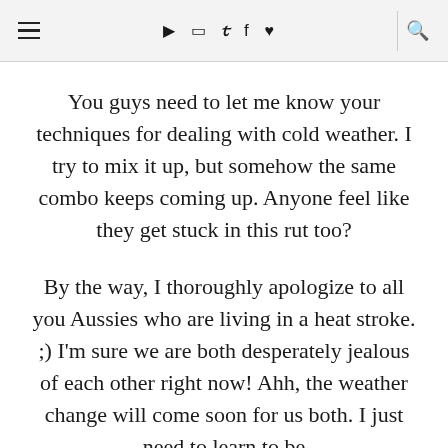≡ ▶ 📷 🐦 f ♥ 🔍
You guys need to let me know your techniques for dealing with cold weather. I try to mix it up, but somehow the same combo keeps coming up. Anyone feel like they get stuck in this rut too?
By the way, I thoroughly apologize to all you Aussies who are living in a heat stroke. ;) I'm sure we are both desperately jealous of each other right now! Ahh, the weather change will come soon for us both. I just need to learn to be